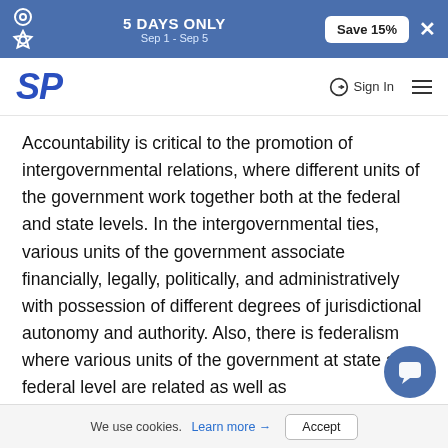5 DAYS ONLY Sep 1 - Sep 5 | Save 15%
SP | Sign In
Accountability is critical to the promotion of intergovernmental relations, where different units of the government work together both at the federal and state levels. In the intergovernmental ties, various units of the government associate financially, legally, politically, and administratively with possession of different degrees of jurisdictional autonomy and authority. Also, there is federalism where various units of the government at state and federal level are related as well as intergovernmental administration with the aim of achieving a particular policy goal (Shafritz et al., 2016). The government should generally be accountable for their action in policy-making and implementation to ensure efficiency in its activiti...
We use cookies. Learn more → Accept